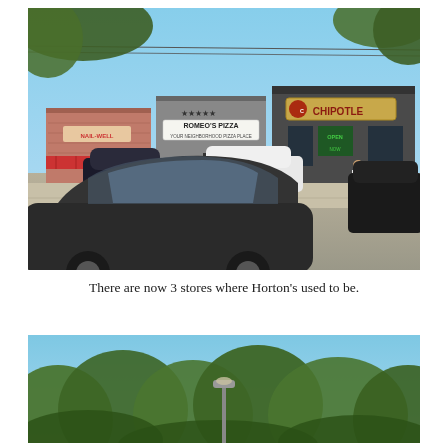[Figure (photo): Street-level photo showing a strip of storefronts including Romeo's Pizza and Chipotle, with cars parked in front and trees visible above. A dark sedan is prominently in the foreground.]
There are now 3 stores where Horton’s used to be.
[Figure (photo): Partial outdoor photo showing dense green tree canopy against a blue sky, with a lamp post visible in the lower center.]